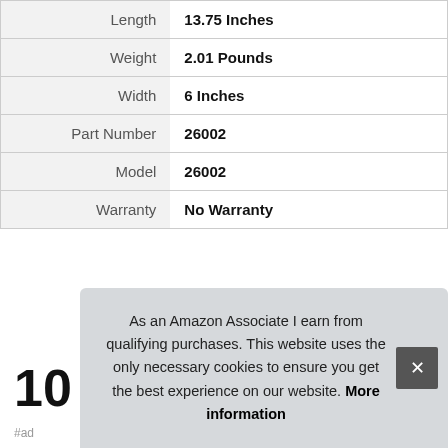| Attribute | Value |
| --- | --- |
| Length | 13.75 Inches |
| Weight | 2.01 Pounds |
| Width | 6 Inches |
| Part Number | 26002 |
| Model | 26002 |
| Warranty | No Warranty |
More information #ad
10
#ad
As an Amazon Associate I earn from qualifying purchases. This website uses the only necessary cookies to ensure you get the best experience on our website. More information